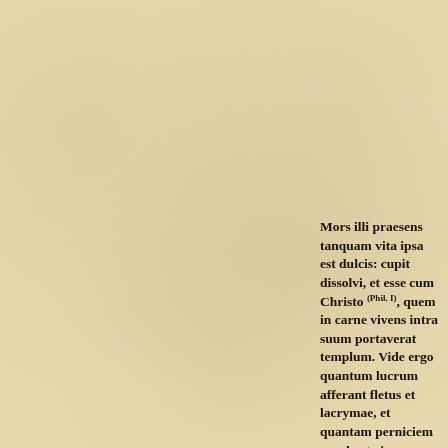Mors illi praesens tanquam vita ipsa est dulcis: cupit dissolvi, et esse cum Christo (Phil. I), quem in carne vivens intra suum portaverat templum. Vide ergo quantum lucrum afferant fletus et lacrymae, et quantam perniciem praebeat risus ac jocus. Qui enim ridere hic delectatur, postmodum flebit amare; qui autem hic legere voluerit, gaudebit in posterum (Matth. V). Nam et Salvator noster beatos appellat lugentes; et